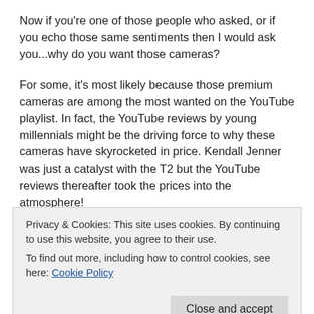Now if you're one of those people who asked, or if you echo those same sentiments then I would ask you...why do you want those cameras?
For some, it's most likely because those premium cameras are among the most wanted on the YouTube playlist. In fact, the YouTube reviews by young millennials might be the driving force to why these cameras have skyrocketed in price. Kendall Jenner was just a catalyst with the T2 but the YouTube reviews thereafter took the prices into the atmosphere!
Now for you guys who are really into photography, you
Privacy & Cookies: This site uses cookies. By continuing to use this website, you agree to their use.
To find out more, including how to control cookies, see here: Cookie Policy
But the insanity of the high prices on those cameras